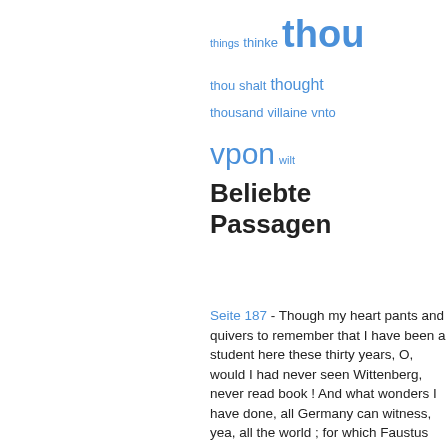things  thinke  thou
thou shalt  thought
thousand  villaine  vnto
vpon  wilt
Beliebte Passagen
Seite 187 - Though my heart pants and quivers to remember that I have been a student here these thirty years, O, would I had never seen Wittenberg, never read book ! And what wonders I have done, all Germany can witness, yea, all the world ; for which Faustus hath lost both Germany and the world, yea